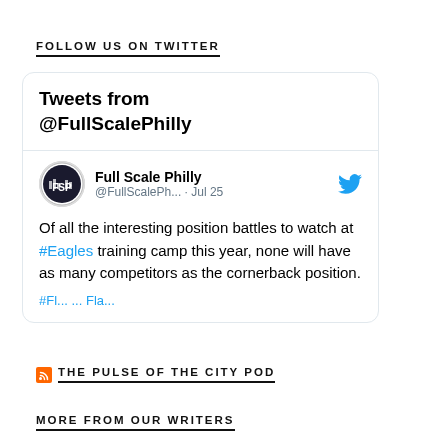FOLLOW US ON TWITTER
[Figure (screenshot): Twitter widget showing tweets from @FullScalePhilly. Tweet by Full Scale Philly (@FullScalePh...) dated Jul 25: 'Of all the interesting position battles to watch at #Eagles training camp this year, none will have as many competitors as the cornerback position.']
THE PULSE OF THE CITY POD
MORE FROM OUR WRITERS